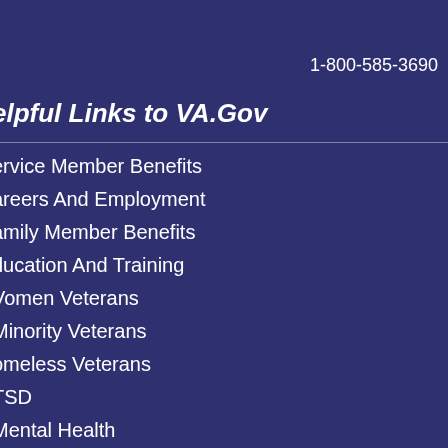1-800-585-3690
Helpful Links to VA.Gov
Service Member Benefits
Careers And Employment
Family Member Benefits
Education And Training
Women Veterans
Minority Veterans
Homeless Veterans
PTSD
Mental Health
Find a VA Form
Get VA Mobile Apps
Careers at VA
Veterans Service Organizations (VSO)
State Veterans Affairs Offices